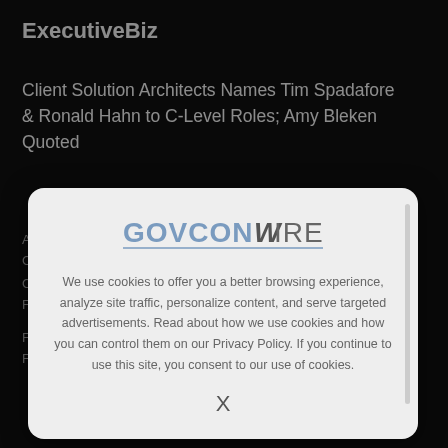ExecutiveBiz
Client Solution Architects Names Tim Spadafore & Ronald Hahn to C-Level Roles; Amy Bleken Quoted
[Figure (logo): GovConWire logo — 'GOVCON' in steel blue and 'WIRE' in dark gray, with a horizontal underline beneath the text]
We use cookies to offer you a better browsing experience, analyze site traffic, personalize content, and serve targeted advertisements. Read about how we use cookies and how you can control them on our Privacy Policy. If you continue to use this site, you consent to our use of cookies.